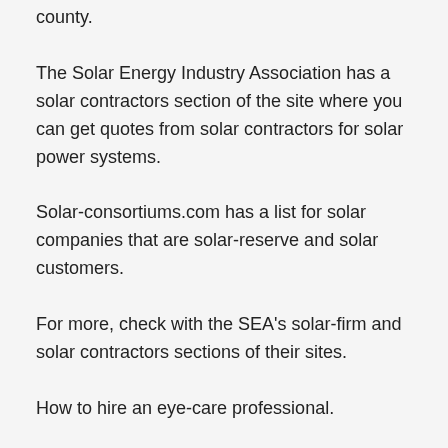county.
The Solar Energy Industry Association has a solar contractors section of the site where you can get quotes from solar contractors for solar power systems.
Solar-consortiums.com has a list for solar companies that are solar-reserve and solar customers.
For more, check with the SEA's solar-firm and solar contractors sections of their sites.
How to hire an eye-care professional.
There are many eye-health and eye-labor-